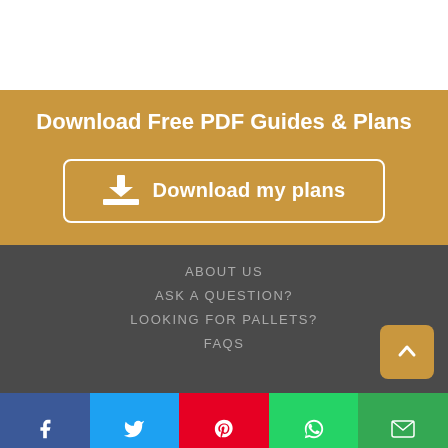Download Free PDF Guides & Plans
Download my plans
ABOUT US
ASK A QUESTION?
LOOKING FOR PALLETS?
FAQS
[Figure (other): Social sharing bar with Facebook, Twitter, Pinterest, WhatsApp, and Email buttons]